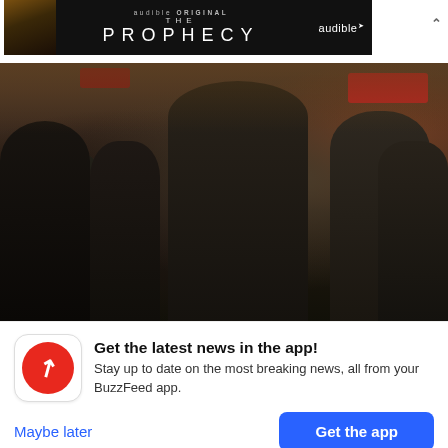[Figure (screenshot): Audible Original 'The Prophecy' advertisement banner with dark background, character image on left, text in center, Audible logo on right]
[Figure (photo): Crowd scene in what appears to be an outdoor market or busy street, people wearing dark clothing, red awning visible in background]
Get the latest news in the app! Stay up to date on the most breaking news, all from your BuzzFeed app.
Maybe later
Get the app